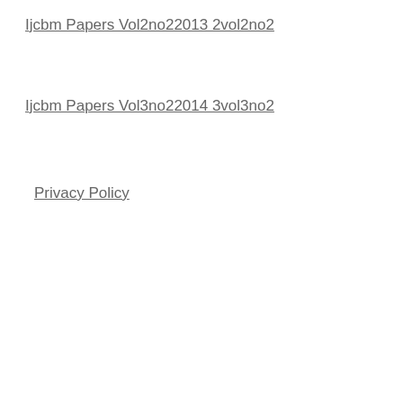Ijcbm Papers Vol2no22013 2vol2no2
Ijcbm Papers Vol3no22014 3vol3no2
Privacy Policy